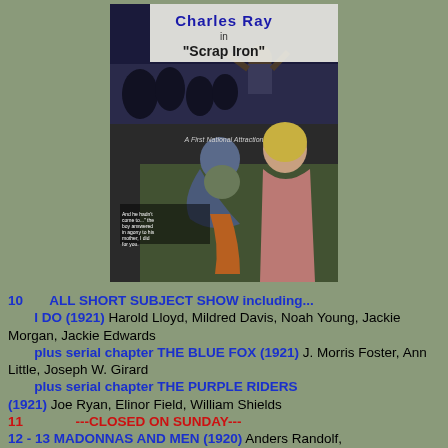[Figure (photo): Movie poster for Charles Ray in 'Scrap Iron', A First National Attraction, showing a man leaning over toward a seated woman in period costume]
10   ALL SHORT SUBJECT SHOW including... I DO (1921) Harold Lloyd, Mildred Davis, Noah Young, Jackie Morgan, Jackie Edwards plus serial chapter THE BLUE FOX (1921) J. Morris Foster, Ann Little, Joseph W. Girard plus serial chapter THE PURPLE RIDERS (1921) Joe Ryan, Elinor Field, William Shields 11   ---CLOSED ON SUNDAY--- 12 - 13 MADONNAS AND MEN (1920) Anders Randolf, Edmund Lowe, Bess Dean, Faire Binney